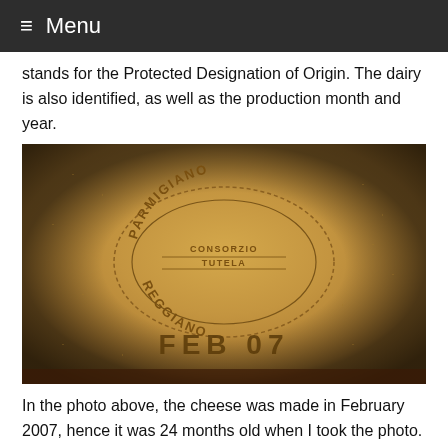≡ Menu
stands for the Protected Designation of Origin. The dairy is also identified, as well as the production month and year.
[Figure (photo): Close-up photo of a wheel of Parmigiano Reggiano cheese rind showing the branded oval consortium seal reading 'PARMIGIANO REGGIANO CONSORZIO TUTELA' and stamped date 'FEB 07' at the bottom.]
In the photo above, the cheese was made in February 2007, hence it was 24 months old when I took the photo.